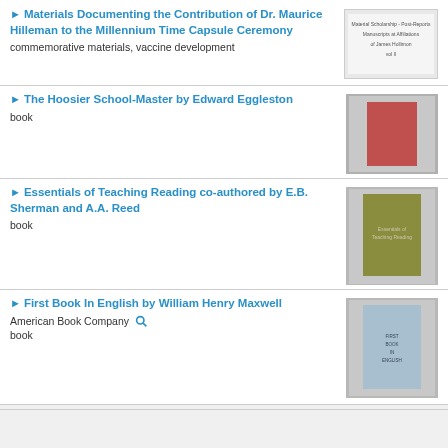Materials Documenting the Contribution of Dr. Maurice Hilleman to the Millennium Time Capsule Ceremony
commemorative materials, vaccine development
The Hoosier School-Master by Edward Eggleston
book
Essentials of Teaching Reading co-authored by E.B. Sherman and A.A. Reed
book
First Book In English by William Henry Maxwell
American Book Company
book